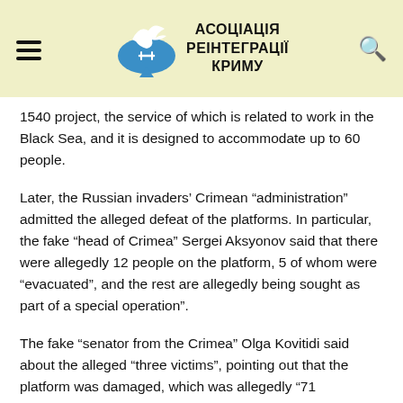АСОЦІАЦІЯ РЕІНТЕГРАЦІЇ КРИМУ
1540 project, the service of which is related to work in the Black Sea, and it is designed to accommodate up to 60 people.
Later, the Russian invaders' Crimean “administration” admitted the alleged defeat of the platforms. In particular, the fake “head of Crimea” Sergei Aksyonov said that there were allegedly 12 people on the platform, 5 of whom were “evacuated”, and the rest are allegedly being sought as part of a special operation”.
The fake “senator from the Crimea” Olga Kovitidi said about the alleged “three victims”, pointing out that the platform was damaged, which was allegedly “71 kilometers near Odessa”. Later, Sergei Aksyonov claimed that three platforms were